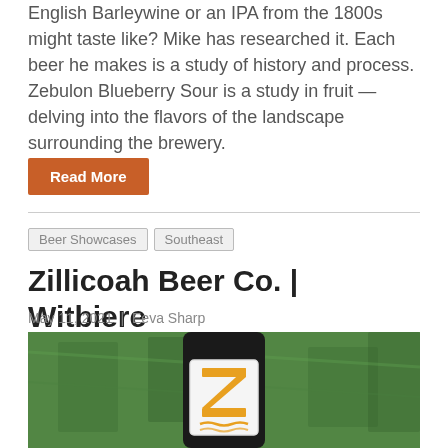English Barleywine or an IPA from the 1800s might taste like? Mike has researched it. Each beer he makes is a study of history and process. Zebulon Blueberry Sour is a study in fruit — delving into the flavors of the landscape surrounding the brewery.
Read More
Beer Showcases
Southeast
Zillicoah Beer Co. | Witbiere
May 11, 2021 | Eeva Sharp
[Figure (photo): A beer bottle with a Z logo label, lying in green grass. The label is white with a golden/yellow stylized Z letter and wavy lines beneath it.]